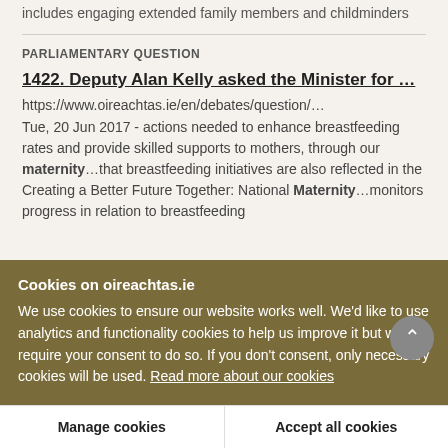includes engaging extended family members and childminders
PARLIAMENTARY QUESTION
1422. Deputy Alan Kelly asked the Minister for …
https://www.oireachtas.ie/en/debates/question/…
Tue, 20 Jun 2017 - actions needed to enhance breastfeeding rates and provide skilled supports to mothers, through our maternity…that breastfeeding initiatives are also reflected in the Creating a Better Future Together: National Maternity…monitors progress in relation to breastfeeding
Cookies on oireachtas.ie
We use cookies to ensure our website works well. We'd like to use analytics and functionality cookies to help us improve it but we require your consent to do so. If you don't consent, only necessary cookies will be used. Read more about our cookies
Manage cookies
Accept all cookies